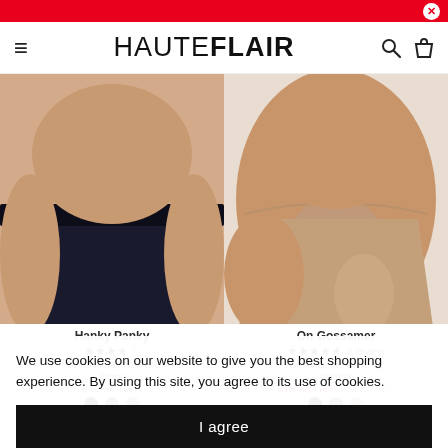HAUTEFLAIR
[Figure (photo): Two lingerie product photos side by side: left shows a dark navy thong on a model, right shows a nude/beige thong on a model]
Hanky Panky
★★★★☆
On Gossamer
★★★★★ 1 review
4 Breathe Natural Rise Thong
Glamour Hip-G Thong 022533
$25.00 USD
$10.99 USD $16.00 USD
We use cookies on our website to give you the best shopping experience. By using this site, you agree to its use of cookies.
I agree